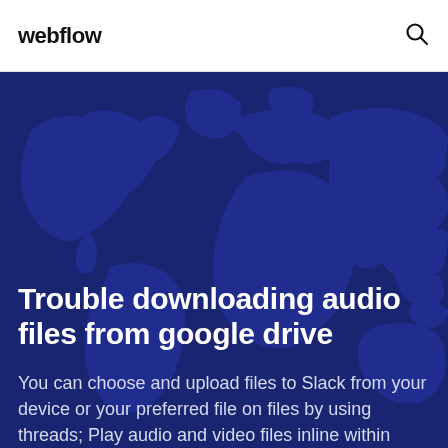webflow
[Figure (illustration): Dark blue hero banner with a world map silhouette in a slightly lighter blue overlaid on a deep navy background.]
Trouble downloading audio files from google drive
You can choose and upload files to Slack from your device or your preferred file on files by using threads; Play audio and video files inline within